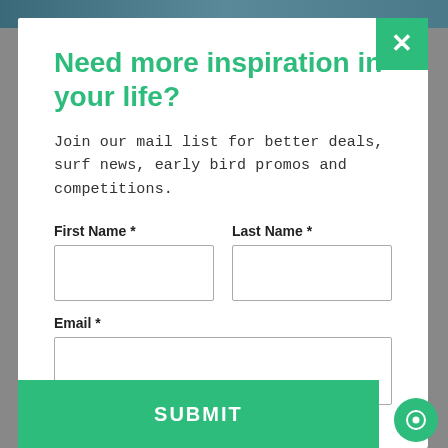[Figure (screenshot): Dark photo strip at top of page behind modal]
Need more inspiration in your life?
Join our mail list for better deals, surf news, early bird promos and competitions.
First Name *
Last Name *
Email *
SUBMIT